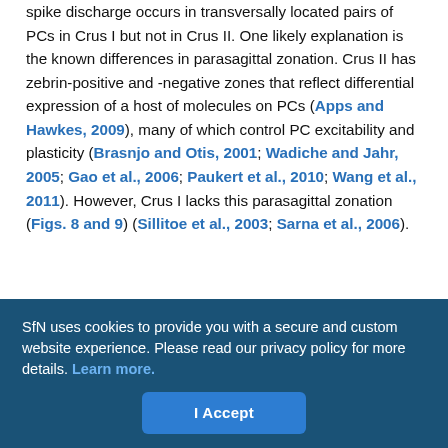spike discharge occurs in transversally located pairs of PCs in Crus I but not in Crus II. One likely explanation is the known differences in parasagittal zonation. Crus II has zebrin-positive and -negative zones that reflect differential expression of a host of molecules on PCs (Apps and Hawkes, 2009), many of which control PC excitability and plasticity (Brasnjo and Otis, 2001; Wadiche and Jahr, 2005; Gao et al., 2006; Paukert et al., 2010; Wang et al., 2011). However, Crus I lacks this parasagittal zonation (Figs. 8 and 9) (Sillitoe et al., 2003; Sarna et al., 2006).
One possible contributor to the patch-like responses is EAAT4. The level of EAAT4 expression on PCs is inversely correlated with glutamate concentration and extrasynaptic GluR activation (Tsai et al., 2012). As we show, the responses to peripheral input in Crus II
SfN uses cookies to provide you with a secure and custom website experience. Please read our privacy policy for more details. Learn more.